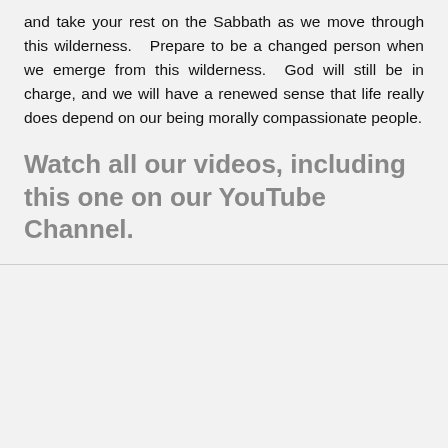and take your rest on the Sabbath as we move through this wilderness. Prepare to be a changed person when we emerge from this wilderness. God will still be in charge, and we will have a renewed sense that life really does depend on our being morally compassionate people.
Watch all our videos, including this one on our YouTube Channel.